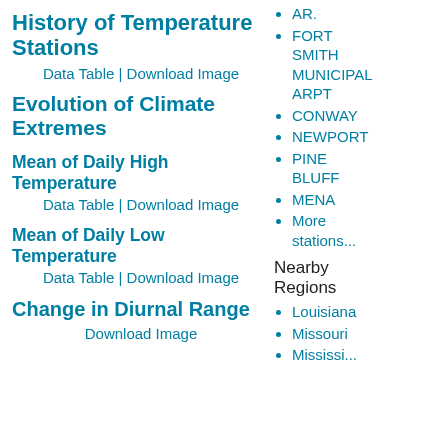History of Temperature Stations
Data Table | Download Image
Evolution of Climate Extremes
Mean of Daily High Temperature
Data Table | Download Image
Mean of Daily Low Temperature
Data Table | Download Image
Change in Diurnal Range
Download Image
AR.
FORT SMITH MUNICIPAL ARPT
CONWAY
NEWPORT
PINE BLUFF
MENA
More stations...
Nearby Regions
Louisiana
Missouri
Mississippi